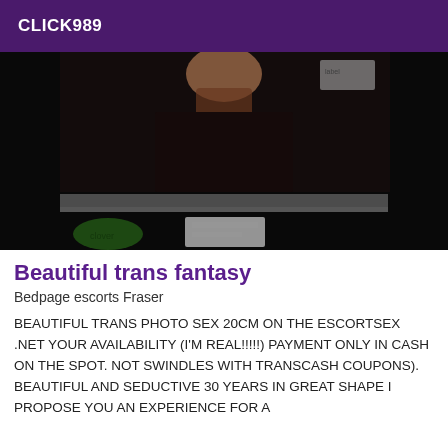CLICK989
[Figure (photo): Dark indoor photo showing a person partially visible, with a green clover/logo item and a white card/envelope visible in the foreground, taken in low light conditions.]
Beautiful trans fantasy
Bedpage escorts Fraser
BEAUTIFUL TRANS PHOTO SEX 20CM ON THE ESCORTSEX .NET YOUR AVAILABILITY (I'M REAL!!!!!) PAYMENT ONLY IN CASH ON THE SPOT. NOT SWINDLES WITH TRANSCASH COUPONS). BEAUTIFUL AND SEDUCTIVE 30 YEARS IN GREAT SHAPE I PROPOSE YOU AN EXPERIENCE FOR A